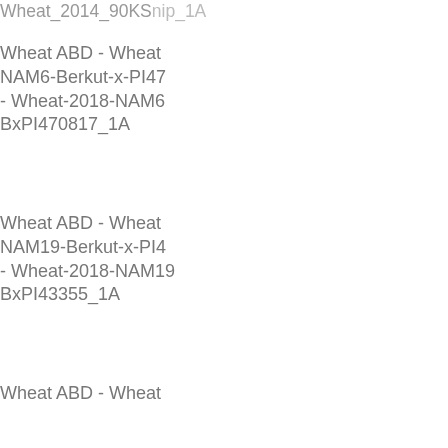Wheat_2014_90KSNP_1A
Wheat ABD - Wheat NAM6-Berkut-x-PI470817 - Wheat-2018-NAM6BxPI470817_1A
Wheat ABD - Wheat NAM19-Berkut-x-PI43355 - Wheat-2018-NAM19BxPI43355_1A
Wheat ABD - Wheat NAM11-Berkut-x-Cltr4175 - Wheat-2018-NAM11BxCltr4175_1A
Wheat ABD - Wheat NAM14-Berkut-x-PI70613 - Wheat-2018-NAM14BxPI70613_1A
Wheat ABD - Wheat NAM3-Berkut-x-PI283147 - Wheat-2018-NAM3BxPI283147_1A
Wheat ABD - Wheat NAM2-Berkut-x-PI572692 - Wheat-2018-NAM2BxPI572692_1A
Wheat ABD - Wheat